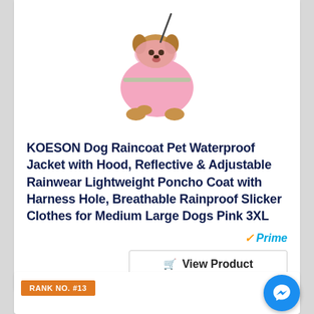[Figure (photo): A small dog wearing a pink raincoat/poncho with reflective strips, photographed against a white background]
KOESON Dog Raincoat Pet Waterproof Jacket with Hood, Reflective & Adjustable Rainwear Lightweight Poncho Coat with Harness Hole, Breathable Rainproof Slicker Clothes for Medium Large Dogs Pink 3XL
[Figure (logo): Amazon Prime logo with orange checkmark and blue Prime text]
View Product
RANK NO. #13